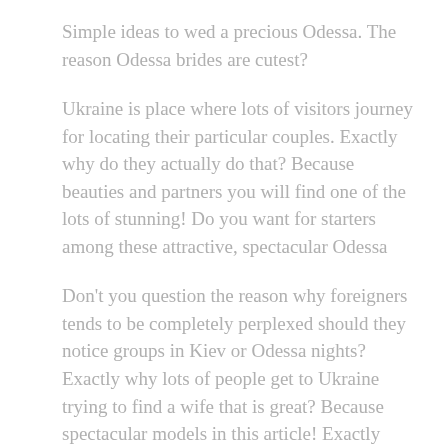Simple ideas to wed a precious Odessa. The reason Odessa brides are cutest?
Ukraine is place where lots of visitors journey for locating their particular couples. Exactly why do they actually do that? Because beauties and partners you will find one of the lots of stunning! Do you want for starters among these attractive, spectacular Odessa
Don't you question the reason why foreigners tends to be completely perplexed should they notice groups in Kiev or Odessa nights? Exactly why lots of people get to Ukraine trying to find a wife that is great? Because spectacular models in this article! Exactly what makes the two consequently very and fabulously pretty? There are various known reasons for that: